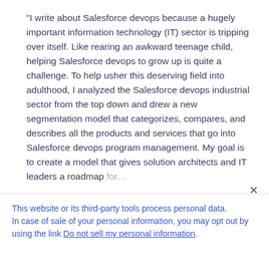“I write about Salesforce devops because a hugely important information technology (IT) sector is tripping over itself. Like rearing an awkward teenage child, helping Salesforce devops to grow up is quite a challenge. To help usher this deserving field into adulthood, I analyzed the Salesforce devops industrial sector from the top down and drew a new segmentation model that categorizes, compares, and describes all the products and services that go into Salesforce devops program management. My goal is to create a model that gives solution architects and IT leaders a roadmap for…
This website or its third-party tools process personal data.
In case of sale of your personal information, you may opt out by using the link Do not sell my personal information.